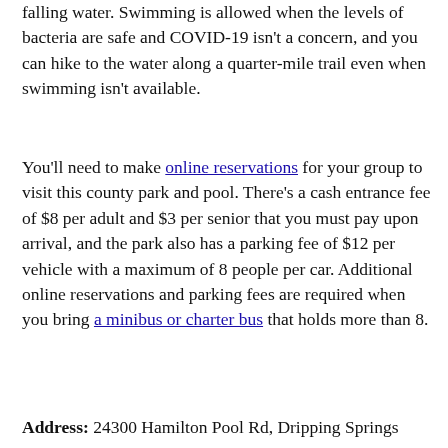falling water. Swimming is allowed when the levels of bacteria are safe and COVID-19 isn't a concern, and you can hike to the water along a quarter-mile trail even when swimming isn't available.
You'll need to make online reservations for your group to visit this county park and pool. There's a cash entrance fee of $8 per adult and $3 per senior that you must pay upon arrival, and the park also has a parking fee of $12 per vehicle with a maximum of 8 people per car. Additional online reservations and parking fees are required when you bring a minibus or charter bus that holds more than 8.
Address: 24300 Hamilton Pool Rd, Dripping Springs